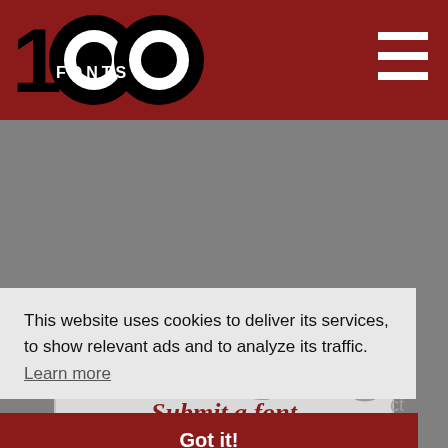[Figure (logo): 1001 Fonts logo: black and white circular design with '1001' and 'FONTS' text on dark red header background]
[Figure (other): Hamburger menu icon (three white horizontal bars) in the top right of the dark red header]
Submit a font
[Figure (other): Social media icons row: Instagram, Facebook, Twitter, Pinterest icons in gray]
This website uses cookies to deliver its services, to show relevant ads and to analyze its traffic. Learn more
Got it!